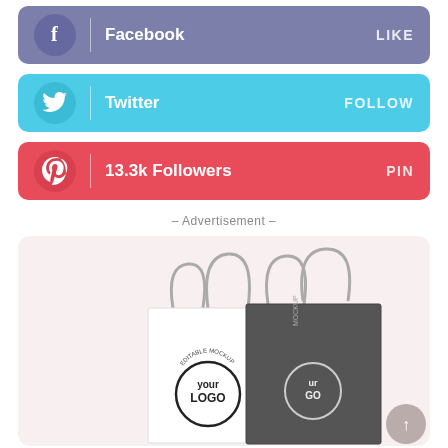[Figure (infographic): Facebook social share button bar with 'f' icon on left and 'LIKE' on right, purple/slate background]
[Figure (infographic): Twitter social share button bar with bird icon on left and 'FOLLOW' on right, cyan/light blue background]
[Figure (infographic): Pinterest social share button bar with 'p' icon on left, '13.3k Followers' text, and 'PIN' on right, red background]
– Advertisement –
[Figure (photo): Advertisement image showing shopping bags mockup with 'EDITABLE MOCKUP' and 'Your LOGO' text on white and dark grey paper bags with rope handles, on a light pink background. A grey circular back-to-top arrow button appears bottom right.]